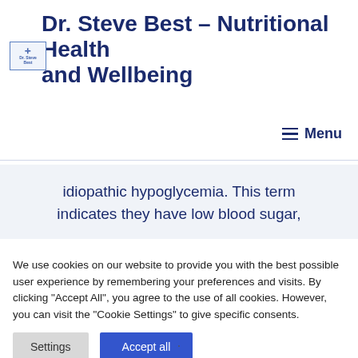Dr. Steve Best – Nutritional Health and Wellbeing
[Figure (logo): Dr. Steve Best logo with cross icon and text]
Menu
idiopathic hypoglycemia. This term indicates they have low blood sugar,
We use cookies on our website to provide you with the best possible user experience by remembering your preferences and visits. By clicking "Accept All", you agree to the use of all cookies. However, you can visit the "Cookie Settings" to give specific consents.
Settings
Accept all